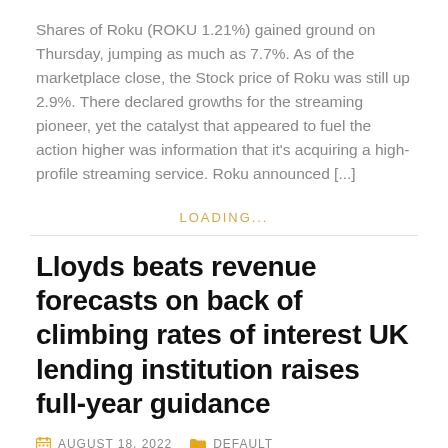Shares of Roku (ROKU 1.21%) gained ground on Thursday, jumping as much as 7.7%. As of the marketplace close, the Stock price of Roku was still up 2.9%. There declared growths for the streaming pioneer, yet the catalyst that appeared to fuel the action higher was information that it's acquiring a high-profile streaming service. Roku announced [...]
LOADING...
Lloyds beats revenue forecasts on back of climbing rates of interest UK lending institution raises full-year guidance
AUGUST 18, 2022   DEFAULT
Lloyds beats revenue forecasts on back of increasing